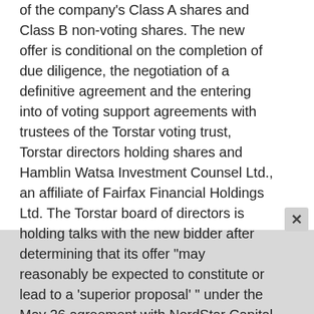of the company's Class A shares and Class B non-voting shares. The new offer is conditional on the completion of due diligence, the negotiation of a definitive agreement and the entering into of voting support agreements with trustees of the Torstar voting trust, Torstar directors holding shares and Hamblin Watsa Investment Counsel Ltd., an affiliate of Fairfax Financial Holdings Ltd. The Torstar board of directors is holding talks with the new bidder after determining that its offer "may reasonably be expected to constitute or lead to a 'superior proposal' " under the May 26 agreement with NordStar Capital LP. The board has determined that the NordStar agreement is in the best interest of the company and continued to recommend that shareholders support the transaction at a special meeting scheduled on July 21.